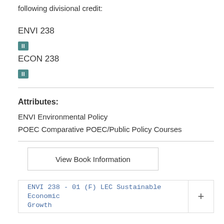following divisional credit:
ENVI 238
[Figure (other): Teal badge with Roman numeral II]
ECON 238
[Figure (other): Teal badge with Roman numeral II]
Attributes:
ENVI Environmental Policy
POEC Comparative POEC/Public Policy Courses
View Book Information
ENVI 238 - 01 (F) LEC Sustainable Economic Growth